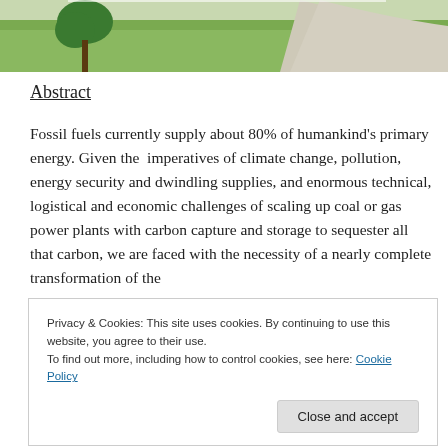[Figure (photo): Partial aerial or ground-level photo showing green grass and a paved path or road, tree visible at left edge]
Abstract
Fossil fuels currently supply about 80% of humankind's primary energy. Given the imperatives of climate change, pollution, energy security and dwindling supplies, and enormous technical, logistical and economic challenges of scaling up coal or gas power plants with carbon capture and storage to sequester all that carbon, we are faced with the necessity of a nearly complete transformation of the
Privacy & Cookies: This site uses cookies. By continuing to use this website, you agree to their use.
To find out more, including how to control cookies, see here: Cookie Policy
demands, let alone the certain increased demands of the